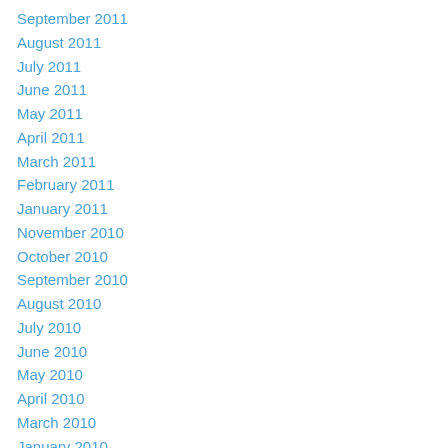September 2011
August 2011
July 2011
June 2011
May 2011
April 2011
March 2011
February 2011
January 2011
November 2010
October 2010
September 2010
August 2010
July 2010
June 2010
May 2010
April 2010
March 2010
January 2010
December 2009